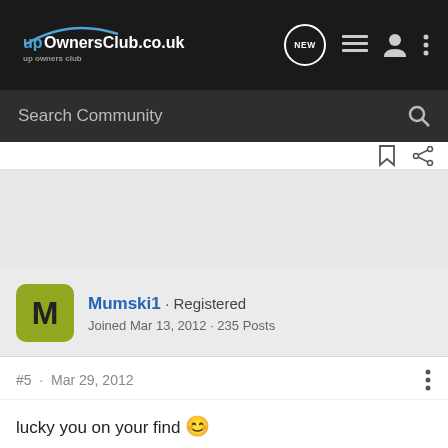upOwnersClub.co.uk — navigation bar with logo, NEW button, list icon, user icon, menu icon
Search Community
[Figure (screenshot): Grey advertisement/content area]
Mumski1 · Registered
Joined Mar 13, 2012 · 235 Posts
#5 · Mar 29, 2012
lucky you on your find 😊